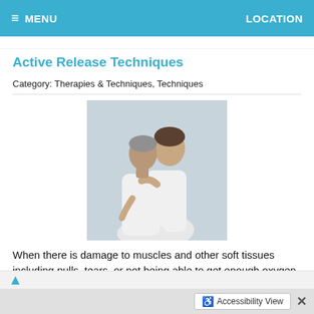≡ MENU   LOCATION
Active Release Techniques
Category: Therapies & Techniques, Techniques
[Figure (photo): A healthcare professional (therapist) performing a soft tissue technique on a seated patient's shoulder/neck area. Both are wearing white.]
When there is damage to muscles and other soft tissues including pulls, tears, or not being able to get enough oxygen (hypoxia), it can result in the body producing rough, thick scar tissue in the affected area. Scar tissue restricts the tissues from moving freely because they bind them and tie them
READ MORE